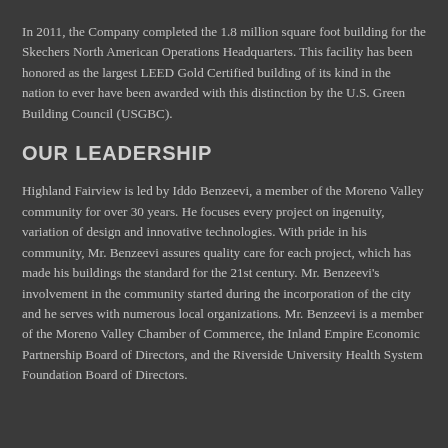In 2011, the Company completed the 1.8 million square foot building for the Skechers North American Operations Headquarters. This facility has been honored as the largest LEED Gold Certified building of its kind in the nation to ever have been awarded with this distinction by the U.S. Green Building Council (USGBC).
OUR LEADERSHIP
Highland Fairview is led by Iddo Benzeevi, a member of the Moreno Valley community for over 30 years. He focuses every project on ingenuity, variation of design and innovative technologies. With pride in his community, Mr. Benzeevi assures quality care for each project, which has made his buildings the standard for the 21st century. Mr. Benzeevi's involvement in the community started during the incorporation of the city and he serves with numerous local organizations. Mr. Benzeevi is a member of the Moreno Valley Chamber of Commerce, the Inland Empire Economic Partnership Board of Directors, and the Riverside University Health System Foundation Board of Directors.